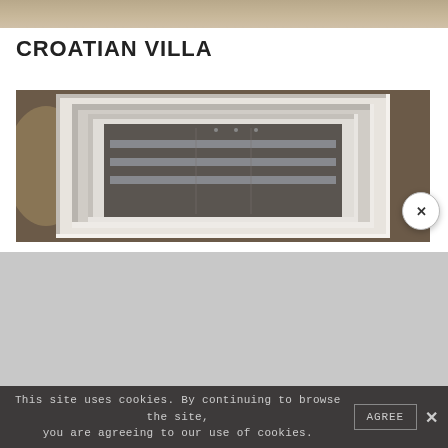[Figure (photo): Partial top strip showing interior warm-toned image at top of page]
CROATIAN VILLA
[Figure (photo): Interior photo of a white ornate door frame with layered moldings, viewed straight on, set against a dark warm background]
This site uses cookies. By continuing to browse the site, you are agreeing to our use of cookies.